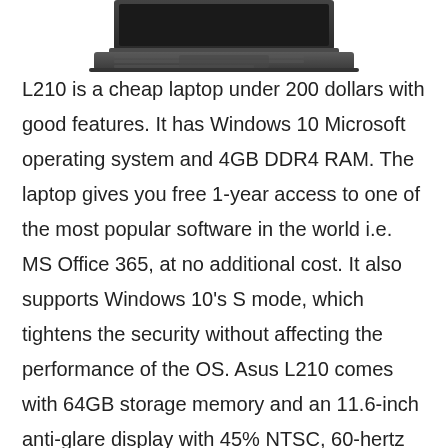[Figure (photo): Partial image of a laptop (bottom portion visible) against a white background]
L210 is a cheap laptop under 200 dollars with good features. It has Windows 10 Microsoft operating system and 4GB DDR4 RAM. The laptop gives you free 1-year access to one of the most popular software in the world i.e. MS Office 365, at no additional cost. It also supports Windows 10's S mode, which tightens the security without affecting the performance of the OS. Asus L210 comes with 64GB storage memory and an 11.6-inch anti-glare display with 45% NTSC, 60-hertz refresh rate, and backlit. The laptop includes a 38 WHr 2-cell battery, SD card reader, Intel N4020 1.1 to 2.8 GHz Celeron processor, and sports USB Type A/C ports.